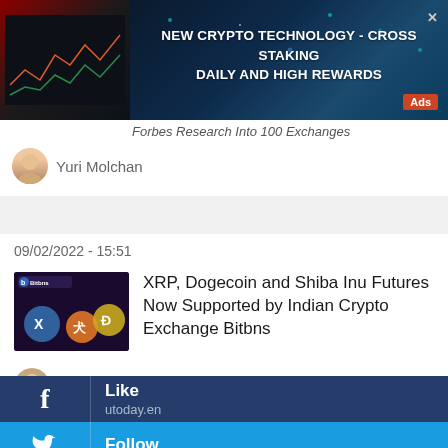[Figure (screenshot): Partial article with crypto trading chart thumbnail on left, advertisement banner overlay reading NEW CRYPTO TECHNOLOGY - CROSS STAKING DAILY AND HIGH REWARDS with Ads badge]
Forbes Research Into 100 Exchanges
Yuri Molchan
09/02/2022 - 15:51
[Figure (photo): Bitbns exchange thumbnail showing XRP, Shiba Inu, and Dogecoin logos on dark purple background]
XRP, Dogecoin and Shiba Inu Futures Now Supported by Indian Crypto Exchange Bitbns
Alex Dovbnya
Like
utoday.en
Follow